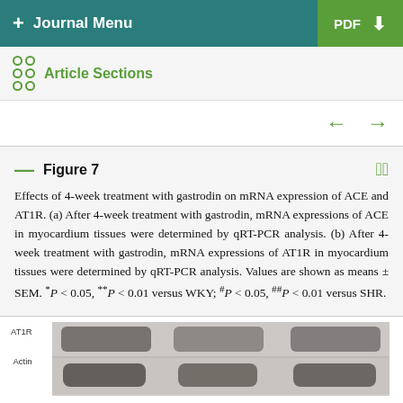+ Journal Menu | PDF ↓
Article Sections
Figure 7
Effects of 4-week treatment with gastrodin on mRNA expression of ACE and AT1R. (a) After 4-week treatment with gastrodin, mRNA expressions of ACE in myocardium tissues were determined by qRT-PCR analysis. (b) After 4-week treatment with gastrodin, mRNA expressions of AT1R in myocardium tissues were determined by qRT-PCR analysis. Values are shown as means ± SEM. *P < 0.05, **P < 0.01 versus WKY; #P < 0.05, ##P < 0.01 versus SHR.
[Figure (photo): Western blot image showing AT1R and Actin bands across multiple lanes]